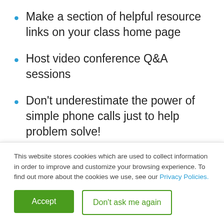Make a section of helpful resource links on your class home page
Host video conference Q&A sessions
Don't underestimate the power of simple phone calls just to help problem solve!
Parents may need help with not only the content of lessons (like remembering
This website stores cookies which are used to collect information in order to improve and customize your browsing experience. To find out more about the cookies we use, see our Privacy Policies.
Accept
Don't ask me again